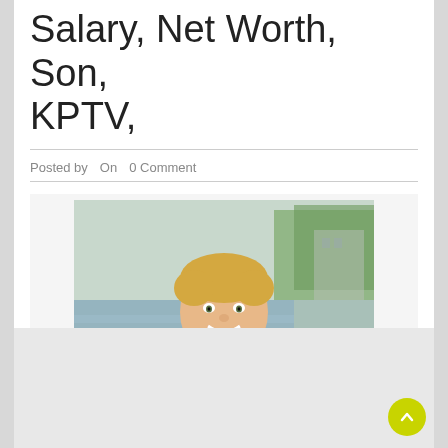Salary, Net Worth, Son, KPTV,
Posted by   On   0 Comment
[Figure (photo): Professional headshot of a smiling man with short blonde hair wearing a blue button-up shirt with a red plaid collar, photographed outdoors near a waterfront with green trees and a building in the background.]